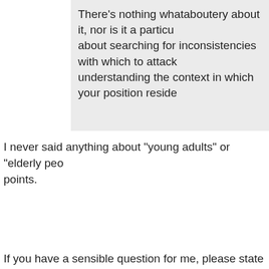There's nothing whataboutery about it, nor is it a particu... about searching for inconsistencies with which to attack... understanding the context in which your position reside...
I never said anything about "young adults" or "elderly peo... points.
If you have a sensible question for me, please state it cle...
Otherwise, kindly fuck off.
147 posts  1  2  3  4
WHO IS ONLINE
Users browsing this forum: No registered users and 1 guest